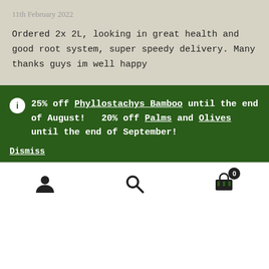11th February 2022
Ordered 2x 2L, looking in great health and good root system, super speedy delivery. Many thanks guys im well happy
25% off Phyllostachys Bamboo until the end of August!    20% off Palms and Olives until the end of September!
Dismiss